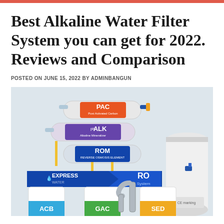Best Alkaline Water Filter System you can get for 2022. Reviews and Comparison
POSTED ON JUNE 15, 2022 BY ADMINBANGUN
[Figure (photo): Product photo of the Express Water RO System alkaline water filter with multiple labeled filter cartridges including PAC (Post Activated Carbon), ALK (Alkaline Mineralizer), ROM (Reverse Osmosis Element), and bottom filters labeled ACB, GAC, SED, along with a storage tank and chrome faucet.]